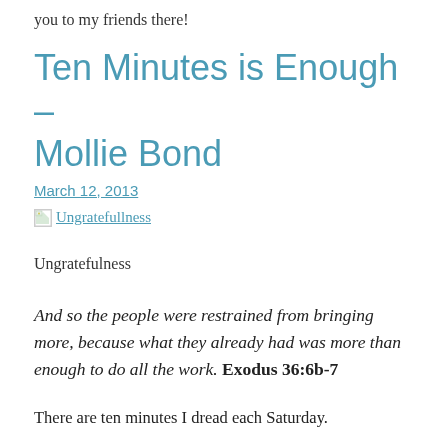you to my friends there!
Ten Minutes is Enough – Mollie Bond
March 12, 2013
[Figure (other): Broken image thumbnail link labeled 'Ungratefullness']
Ungratefulness
And so the people were restrained from bringing more, because what they already had was more than enough to do all the work. Exodus 36:6b-7
There are ten minutes I dread each Saturday.